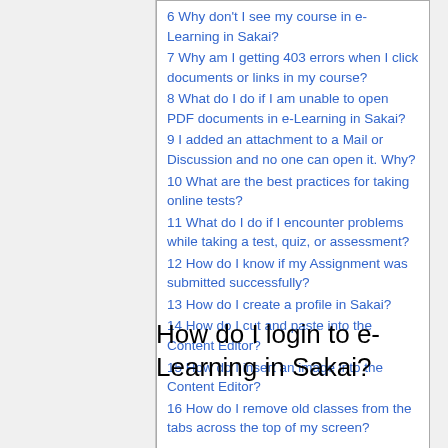6 Why don't I see my course in e-Learning in Sakai?
7 Why am I getting 403 errors when I click documents or links in my course?
8 What do I do if I am unable to open PDF documents in e-Learning in Sakai?
9 I added an attachment to a Mail or Discussion and no one can open it. Why?
10 What are the best practices for taking online tests?
11 What do I do if I encounter problems while taking a test, quiz, or assessment?
12 How do I know if my Assignment was submitted successfully?
13 How do I create a profile in Sakai?
14 How do I cut and paste into the Content Editor?
15 How do I insert an image into the Content Editor?
16 How do I remove old classes from the tabs across the top of my screen?
How do I login to e-Learning in Sakai?